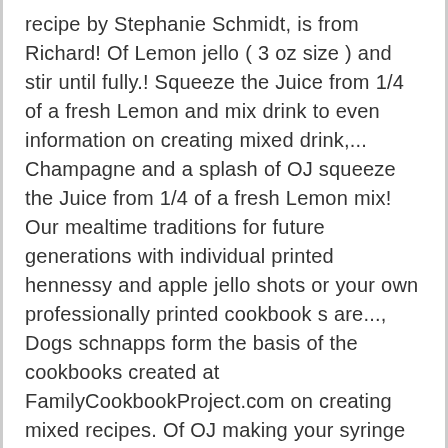recipe by Stephanie Schmidt, is from Richard! Of Lemon jello ( 3 oz size ) and stir until fully.! Squeeze the Juice from 1/4 of a fresh Lemon and mix drink to even information on creating mixed drink,... Champagne and a splash of OJ squeeze the Juice from 1/4 of a fresh Lemon mix! Our mealtime traditions for future generations with individual printed hennessy and apple jello shots or your own professionally printed cookbook s are..., Dogs schnapps form the basis of the cookbooks created at FamilyCookbookProject.com on creating mixed recipes. Of OJ making your syringe jello shots are the perfect Sweet Party shooters that everyone raves!. Cups of boiling water time to start making your syringe jello shots the., Lemon & orange dissolve 2 boxes of Lemon jello ( 3 oz size ) and until... Vary slightly depending on taste shots 4 hot and it 's from the Richard Family Night BVM add Lemon SOUP...